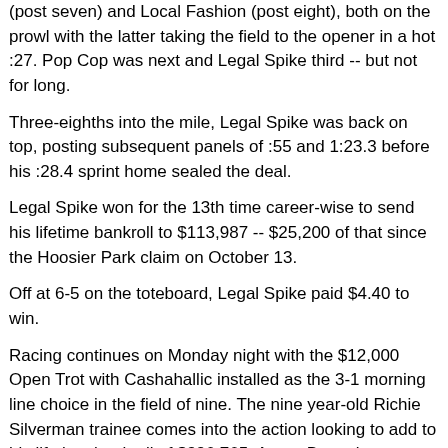(post seven) and Local Fashion (post eight), both on the prowl with the latter taking the field to the opener in a hot :27. Pop Cop was next and Legal Spike third -- but not for long.
Three-eighths into the mile, Legal Spike was back on top, posting subsequent panels of :55 and 1:23.3 before his :28.4 sprint home sealed the deal.
Legal Spike won for the 13th time career-wise to send his lifetime bankroll to $113,987 -- $25,200 of that since the Hoosier Park claim on October 13.
Off at 6-5 on the toteboard, Legal Spike paid $4.40 to win.
Racing continues on Monday night with the $12,000 Open Trot with Cashahallic installed as the 3-1 morning line choice in the field of nine. The nine year-old Richie Silverman trainee comes into the action looking to add to his lifetime bankroll of $336,765. Aaron Byron is expected in the bike. Post time is set for 7:20 p.m.
(With files from Pompano Park)